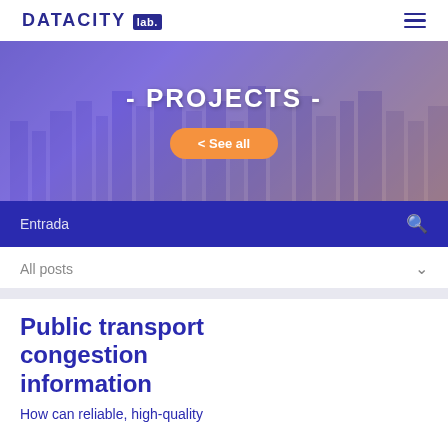DATACITY lab.
[Figure (photo): City aerial photo banner with text '- PROJECTS -' and a '< See all' orange button overlay]
Entrada
All posts
Public transport congestion information
How can reliable, high-quality